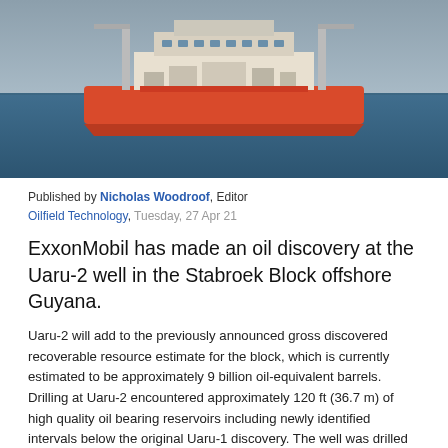[Figure (photo): Offshore oil drilling vessel / drillship with red hull and white superstructure floating on blue ocean water against a grey-blue sky.]
Published by Nicholas Woodroof, Editor
Oilfield Technology, Tuesday, 27 Apr 21
ExxonMobil has made an oil discovery at the Uaru-2 well in the Stabroek Block offshore Guyana.
Uaru-2 will add to the previously announced gross discovered recoverable resource estimate for the block, which is currently estimated to be approximately 9 billion oil-equivalent barrels. Drilling at Uaru-2 encountered approximately 120 ft (36.7 m) of high quality oil bearing reservoirs including newly identified intervals below the original Uaru-1 discovery. The well was drilled in 5659 ft (1725 m) of water and is located approximately 6.8 miles (11 km) south of the Uaru-1 well.
“The Uaru-2 discovery enhances our work to optimally sequence development opportunities in the Stabroek Block,” said Mike